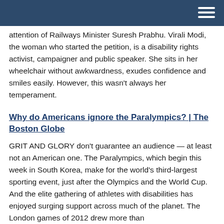attention of Railways Minister Suresh Prabhu. Virali Modi, the woman who started the petition, is a disability rights activist, campaigner and public speaker. She sits in her wheelchair without awkwardness, exudes confidence and smiles easily. However, this wasn't always her temperament.
Why do Americans ignore the Paralympics? | The Boston Globe
GRIT AND GLORY don't guarantee an audience — at least not an American one. The Paralympics, which begin this week in South Korea, make for the world's third-largest sporting event, just after the Olympics and the World Cup. And the elite gathering of athletes with disabilities has enjoyed surging support across much of the planet. The London games of 2012 drew more than